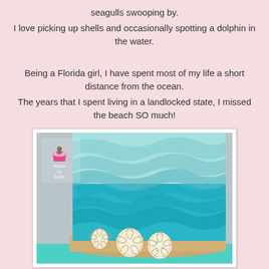seagulls swooping by.
I love picking up shells and occasionally spotting a dolphin in the water.
Being a Florida girl, I have spent most of my life a short distance from the ocean.
The years that I spent living in a landlocked state, I missed the beach SO much!
[Figure (photo): A beach-themed layered cake decorated with blue ombre wave-textured frosting, a sandy bottom with sand dollars made of white fondant, displayed on a cake stand. A small bakery logo watermark is visible in the upper left corner of the image.]